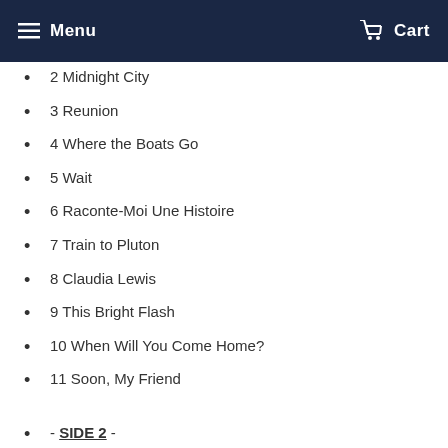Menu  Cart
2 Midnight City
3 Reunion
4 Where the Boats Go
5 Wait
6 Raconte-Moi Une Histoire
7 Train to Pluton
8 Claudia Lewis
9 This Bright Flash
10 When Will You Come Home?
11 Soon, My Friend
- SIDE 2 -
1 My Tears Are Becoming a Sea
2 New Map
3 Ok Pal
4 Another Wave from You